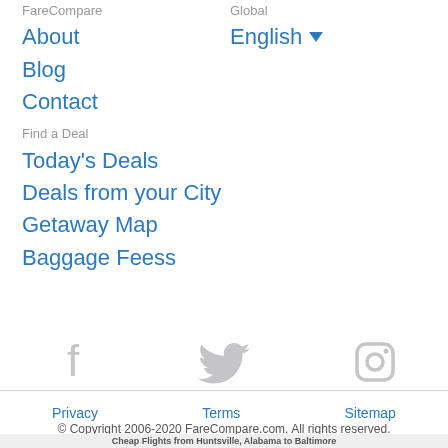FareCompare
Global
About
English ▾
Blog
Contact
Find a Deal
Today's Deals
Deals from your City
Getaway Map
Baggage Feess
[Figure (illustration): Social media icons: Facebook, Twitter, Instagram (in gray)]
Privacy
Terms
Sitemap
© Copyright 2006-2020 FareCompare.com. All rights reserved.
Cheap Flights from Huntsville, Alabama to Baltimore